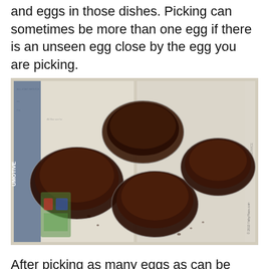and eggs in those dishes. Picking can sometimes be more than one egg if there is an unseen egg close by the egg you are picking.
[Figure (photo): Four glass petri dishes filled with dark brown coir substrate placed on newspaper pages spread on a table. The dishes are arranged with one in the upper center, one on the left, one in the lower center, and one on the right. A watermark reading 'CSpicy@FishyPlace.com' appears on the right edge.]
After picking as many eggs as can be found, leftover coir is distributed evenly into the four